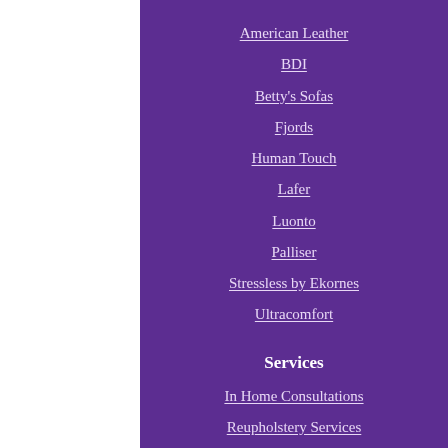American Leather
BDI
Betty's Sofas
Fjords
Human Touch
Lafer
Luonto
Palliser
Stressless by Ekornes
Ultracomfort
Services
In Home Consultations
Reupholstery Services
About Us
Our Story
Contact Us